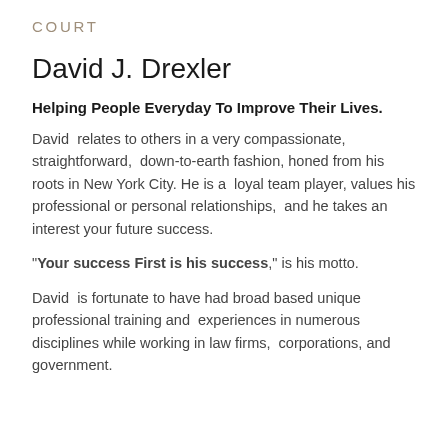COURT
David J. Drexler
Helping People Everyday To Improve Their Lives.
David  relates to others in a very compassionate, straightforward,  down-to-earth fashion, honed from his roots in New York City. He is a  loyal team player, values his professional or personal relationships,  and he takes an interest your future success.
"Your success First is his success," is his motto.
David  is fortunate to have had broad based unique professional training and  experiences in numerous disciplines while working in law firms,  corporations, and government.